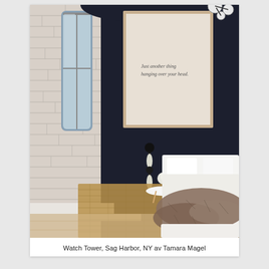[Figure (photo): Interior bedroom photo showing a moody, modern bedroom with a dark navy/black accent wall, whitewashed exposed brick wall on the left, tall window, a white platform bed with fur throw, small round white side table with flowers, a sculptural wall sconce, large framed white artwork with text on the dark wall, woven jute rug on light wood floor, and a decorative ceiling light fixture visible at top.]
Watch Tower, Sag Harbor, NY av Tamara Magel